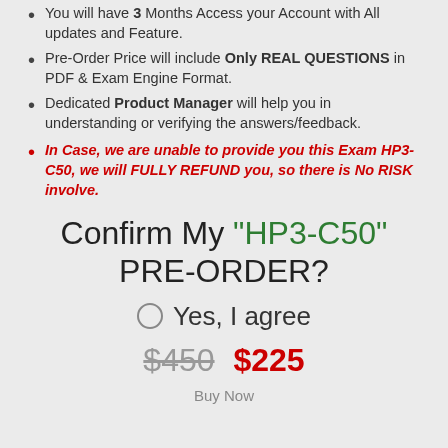You will have 3 Months Access your Account with All updates and Feature.
Pre-Order Price will include Only REAL QUESTIONS in PDF & Exam Engine Format.
Dedicated Product Manager will help you in understanding or verifying the answers/feedback.
In Case, we are unable to provide you this Exam HP3-C50, we will FULLY REFUND you, so there is No RISK involve.
Confirm My "HP3-C50" PRE-ORDER?
Yes, I agree
$450  $225
Buy Now